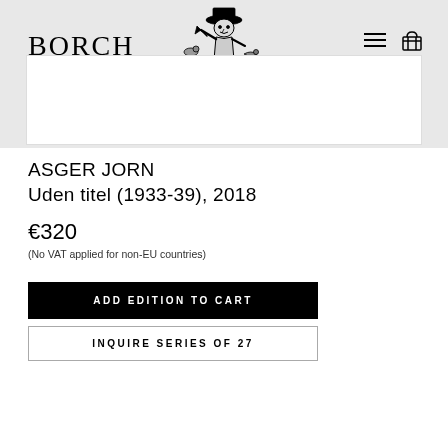BORCH
[Figure (illustration): Black and white woodcut/etching illustration of a figure with a hat holding an axe, with animals around, used as logo/emblem for Borch Editions]
ASGER JORN
Uden titel (1933-39), 2018
€320
(No VAT applied for non-EU countries)
ADD EDITION TO CART
INQUIRE SERIES OF 27